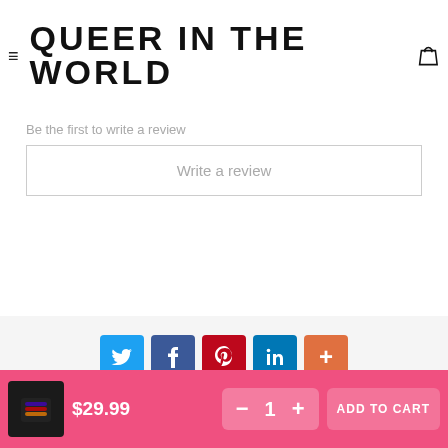≡ QUEER IN THE WORLD 🛍
Be the first to write a review
Write a review
[Figure (other): Social share buttons: Twitter, Facebook, Pinterest, LinkedIn, More (+)]
$29.99
1
ADD TO CART